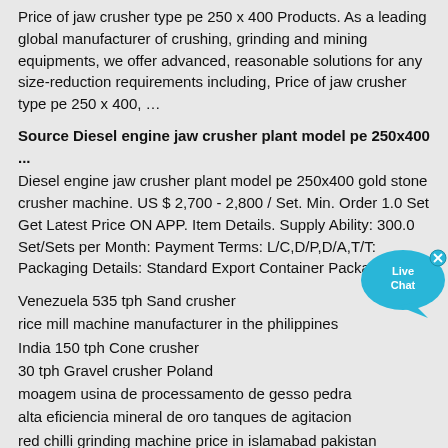Price of jaw crusher type pe 250 x 400 Products. As a leading global manufacturer of crushing, grinding and mining equipments, we offer advanced, reasonable solutions for any size-reduction requirements including, Price of jaw crusher type pe 250 x 400, …
Source Diesel engine jaw crusher plant model pe 250x400 ...
Diesel engine jaw crusher plant model pe 250x400 gold stone crusher machine. US $ 2,700 - 2,800 / Set. Min. Order 1.0 Set Get Latest Price ON APP. Item Details. Supply Ability: 300.0 Set/Sets per Month: Payment Terms: L/C,D/P,D/A,T/T: Packaging Details: Standard Export Container Packagi
Venezuela 535 tph Sand crusher
rice mill machine manufacturer in the philippines
India 150 tph Cone crusher
30 tph Gravel crusher Poland
moagem usina de processamento de gesso pedra
alta eficiencia mineral de oro tanques de agitacion
red chilli grinding machine price in islamabad pakistan
Mobile cone crusher 470 tph Turkmenistan
dt type belt conveyor system belt machine conveyer belt machine
Fiji 590 tph Sand crusher
Underground Underground Mining Jobs
Jamaica 260 tph Primary jaw crusher
Cuba 270 tph Stone crushing machine